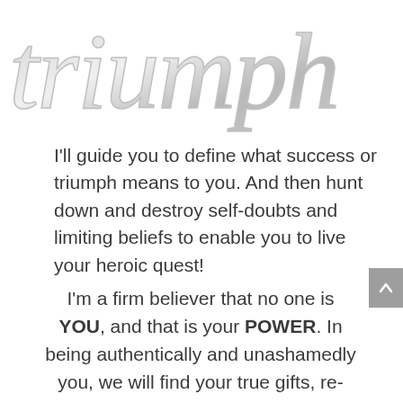[Figure (illustration): Decorative script/calligraphy text reading 'triumph' in silver/gray embossed style at the top of the page]
I'll guide you to define what success or triumph means to you. And then hunt down and destroy self-doubts and limiting beliefs to enable you to live your heroic quest!
I'm a firm believer that no one is YOU, and that is your POWER. In being authentically and unashamedly you, we will find your true gifts, re-define